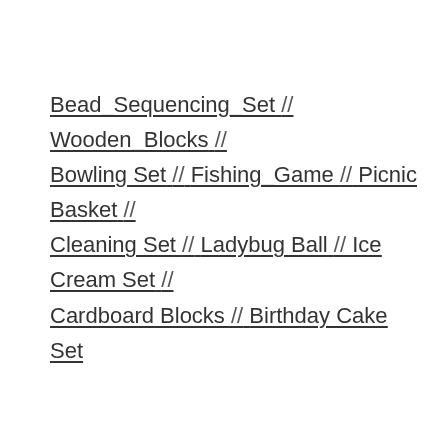Bead_Sequencing_Set // Wooden_Blocks // Bowling Set // Fishing_Game // Picnic Basket // Cleaning Set // Ladybug Ball // Ice Cream Set // Cardboard Blocks // Birthday Cake Set